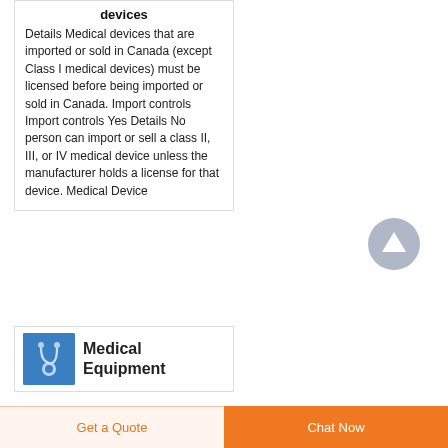devices
Details Medical devices that are imported or sold in Canada (except Class I medical devices) must be licensed before being imported or sold in Canada. Import controls Import controls Yes Details No person can import or sell a class II, III, or IV medical device unless the manufacturer holds a license for that device. Medical Device
[Figure (illustration): Circular grey scroll-to-top button with white upward arrow]
[Figure (photo): Blue image of medical equipment/stethoscope]
Medical Equipment
Get a Quote
Chat Now